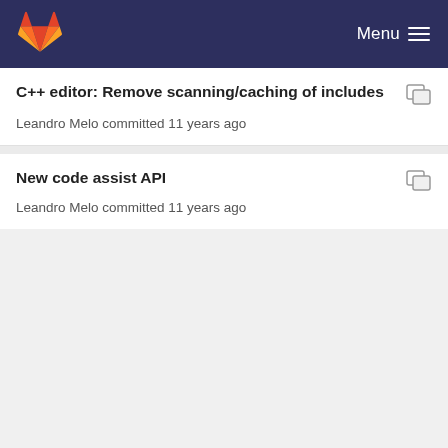Menu
C++ editor: Remove scanning/caching of includes
Leandro Melo committed 11 years ago
New code assist API
Leandro Melo committed 11 years ago